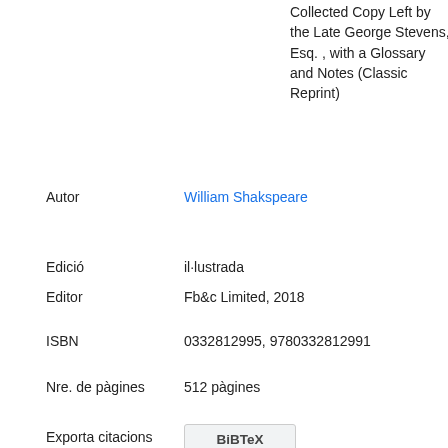Collected Copy Left by the Late George Stevens, Esq. , with a Glossary and Notes (Classic Reprint)
Autor: William Shakspeare
Edició: il·lustrada
Editor: Fb&c Limited, 2018
ISBN: 0332812995, 9780332812991
Nre. de pàgines: 512 pàgines
Exporta citacions
BiBTeX
EndNote
RefMan